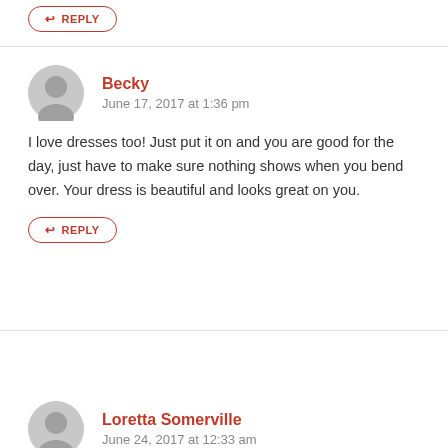[Figure (other): Reply button (partial, top of page) with red border and red arrow icon]
Becky
June 17, 2017 at 1:36 pm
I love dresses too! Just put it on and you are good for the day, just have to make sure nothing shows when you bend over. Your dress is beautiful and looks great on you.
[Figure (other): Reply button with red border and red reply arrow icon, text: REPLY]
Loretta Somerville
June 24, 2017 at 12:33 am
I am a woman of a certain age who has enjoyed the gift of being a woman